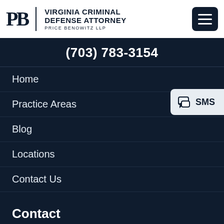VIRGINIA CRIMINAL DEFENSE ATTORNEY PRICE BENOWITZ LLP
(703) 783-3154
Home
Practice Areas
Blog
Locations
Contact Us
SMS
Contact
Virginia Criminal Defense Lawyers
10505 Judicial Dr #106  Phone: (703) 783-3154